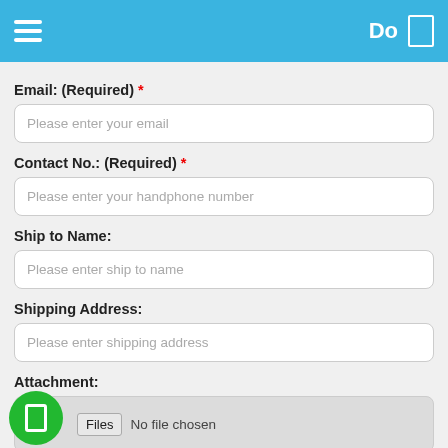Do
Email: (Required) *
Please enter your email
Contact No.: (Required) *
Please enter your handphone number
Ship to Name:
Please enter ship to name
Shipping Address:
Please enter shipping address
Attachment:
Files  No file chosen
*only support gif, jpeg, jpg, png, pdf
Messages: (Required) *